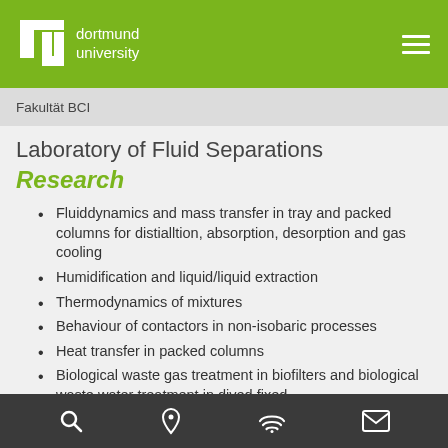TU Dortmund University
Fakultät BCI
Laboratory of Fluid Separations
Research
Fluiddynamics and mass transfer in tray and packed columns for distialltion, absorption, desorption and gas cooling
Humidification and liquid/liquid extraction
Thermodynamics of mixtures
Behaviour of contactors in non-isobaric processes
Heat transfer in packed columns
Biological waste gas treatment in biofilters and biological waste water treatment in dived fixed
Search | Location | WiFi | Contact